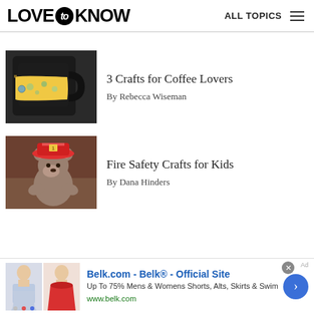LOVE to KNOW — ALL TOPICS
[Figure (photo): Black ceramic coffee mug with yellow floral cozy/sleeve]
3 Crafts for Coffee Lovers
By Rebecca Wiseman
[Figure (photo): Stuffed bear toy wearing a red firefighter helmet]
Fire Safety Crafts for Kids
By Dana Hinders
[Figure (infographic): Advertisement banner: Belk.com - Belk® - Official Site. Up To 75% Mens & Womens Shorts, Alts, Skirts & Swim. www.belk.com. Two women wearing skirts shown.]